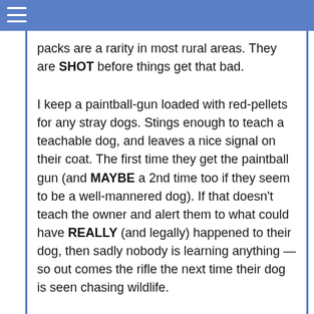packs are a rarity in most rural areas. They are SHOT before things get that bad.
I keep a paintball-gun loaded with red-pellets for any stray dogs. Stings enough to teach a teachable dog, and leaves a nice signal on their coat. The first time they get the paintball gun (and MAYBE a 2nd time too if they seem to be a well-mannered dog). If that doesn't teach the owner and alert them to what could have REALLY (and legally) happened to their dog, then sadly nobody is learning anything — so out comes the rifle the next time their dog is seen chasing wildlife.
This is why you rarely hear news of feral-dog-packs in rural areas. Everyone knows to do their civic and moral duty.
Though cats aren't so easily forgiven. From past experience of 15 years of trying to reason with useless and demented cat-listers it has been proved to me...